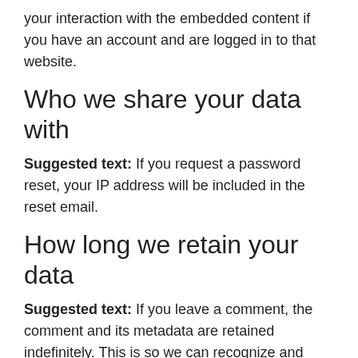your interaction with the embedded content if you have an account and are logged in to that website.
Who we share your data with
Suggested text: If you request a password reset, your IP address will be included in the reset email.
How long we retain your data
Suggested text: If you leave a comment, the comment and its metadata are retained indefinitely. This is so we can recognize and approve any follow-up comments automatically instead of holding them in a moderation queue.
For users that register on our website (if any), we also store the personal information they provide in their user